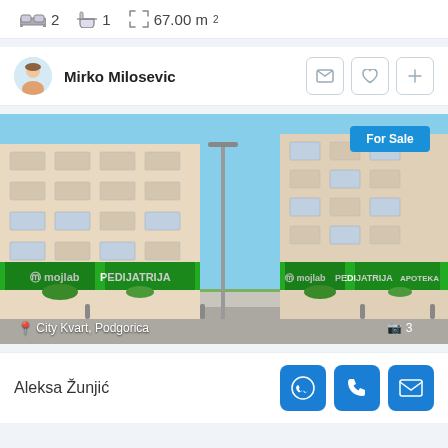2 bedrooms  1 bathroom  67.00 m²
Mirko Milosevic
[Figure (photo): Exterior photo of a multi-storey residential building with green commercial signage (mojlab, PEDIJATRIJA, APOTEKA) at ground level. Badge says 'For Sale'. Location: City Kvart, Podgorica. Photo count: 3.]
Aleksa Žunjić